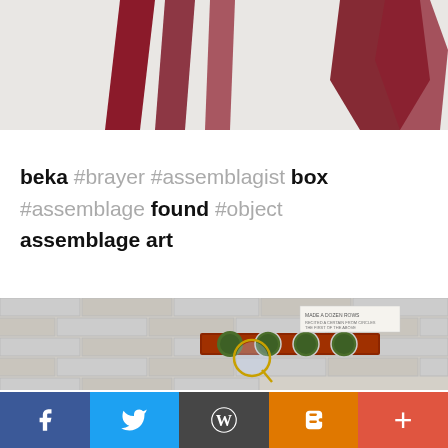[Figure (photo): Partial photo from above showing dark red/maroon shapes (possibly clay or paper art pieces) on a white background, cropped at top]
beka #brayer #assemblagist box #assemblage found #object assemblage art
[Figure (photo): Photo of an assemblage artwork: a decorative bar with circular painted medallions and a magnifying glass, mounted on a white brick wall background. A small label/card is attached at the top.]
Facebook | Twitter | WordPress | Blogger | +